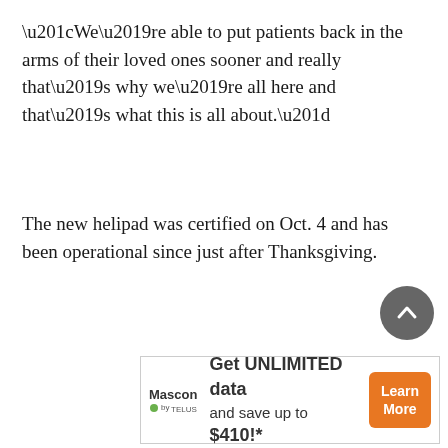“We’re able to put patients back in the arms of their loved ones sooner and really that’s why we’re all here and that’s what this is all about.”
The new helipad was certified on Oct. 4 and has been operational since just after Thanksgiving.
[Figure (other): Circular scroll-to-top button with upward chevron arrow, dark grey background]
[Figure (other): Advertisement banner for Mascon by TELUS: Get UNLIMITED data and save up to $410!* with Learn More button]